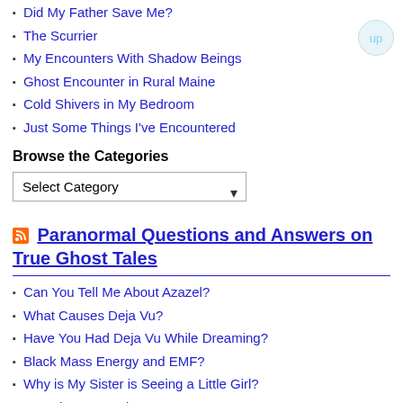Did My Father Save Me?
The Scurrier
My Encounters With Shadow Beings
Ghost Encounter in Rural Maine
Cold Shivers in My Bedroom
Just Some Things I've Encountered
Browse the Categories
Select Category
Paranormal Questions and Answers on True Ghost Tales
Can You Tell Me About Azazel?
What Causes Deja Vu?
Have You Had Deja Vu While Dreaming?
Black Mass Energy and EMF?
Why is My Sister is Seeing a Little Girl?
Are Mirrors Portals?